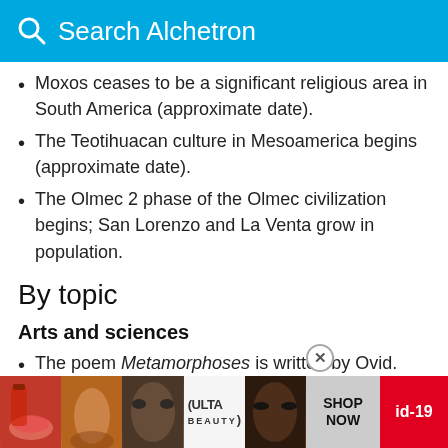Search Alchetron
Moxos ceases to be a significant religious area in South America (approximate date).
The Teotihuacan culture in Mesoamerica begins (approximate date).
The Olmec 2 phase of the Olmec civilization begins; San Lorenzo and La Venta grow in population.
By topic
Arts and sciences
The poem Metamorphoses is written by Ovid.
Religi…
[Figure (screenshot): Advertisement banner for ULTA beauty products at the bottom of the page, showing makeup imagery, ULTA logo, SHOP NOW text, and id-19 label with a close button.]